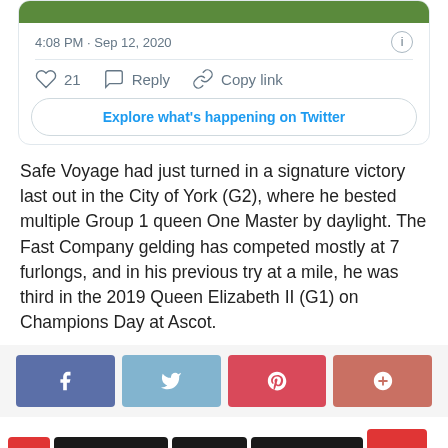[Figure (screenshot): Twitter/X tweet card screenshot showing timestamp 4:08 PM · Sep 12, 2020, like count 21, Reply, Copy link actions, and Explore what's happening on Twitter button]
Safe Voyage had just turned in a signature victory last out in the City of York (G2), where he bested multiple Group 1 queen One Master by daylight. The Fast Company gelding has competed mostly at 7 furlongs, and in his previous try at a mile, he was third in the 2019 Queen Elizabeth II (G1) on Champions Day at Ascot.
[Figure (infographic): Social sharing buttons: Facebook (blue), Twitter (light blue), Pinterest (red), Google+ (salmon-red)]
AIDAN O'BRIEN
ARMORY
BOOMERANG M
BREEDERS CUP TURF
BREEDERS' CUP